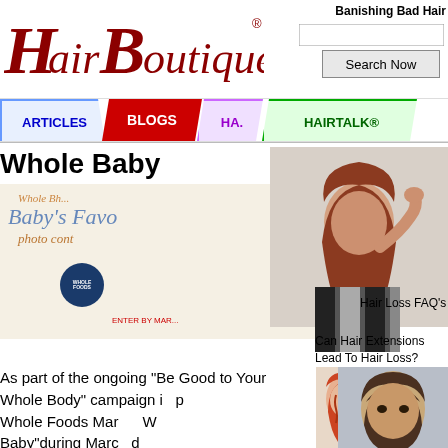[Figure (logo): HairBoutique.com logo in red/dark red stylized script font with registered trademark symbol]
Banishing Bad Hair
[Figure (screenshot): Search input box]
Search Now
ARTICLES | BLOGS | HA... | HAIRTALK®
Whole Baby
[Figure (photo): Whole Baby photo contest promotional image with Baby's Favo... text, Whole Foods badge, ENTER BY MAR... text]
[Figure (photo): Woman with long blonde hair posing glamorously]
[Figure (photo): Woman with auburn/brunette hair tilting head back]
Can Hair Extensions Lead To Hair Loss?
Hair Loss FAQ's
As part of the ongoing "Be Good to Your Whole Body" campaign in p Whole Foods Mar W Baby"during Marc d special offers and r
[Figure (photo): Young woman with red braided hair]
[Figure (photo): Woman with dark brown straight hair with bangs]